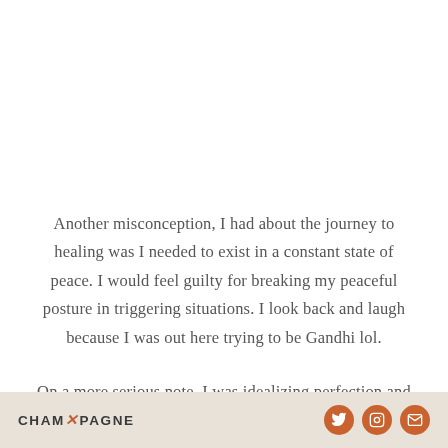Another misconception, I had about the journey to healing was I needed to exist in a constant state of peace. I would feel guilty for breaking my peaceful posture in triggering situations. I look back and laugh because I was out here trying to be Gandhi lol.
On a more serious note, I was idealizing perfection and
CHAMPAGNE [social icons: Twitter, Instagram, Email]